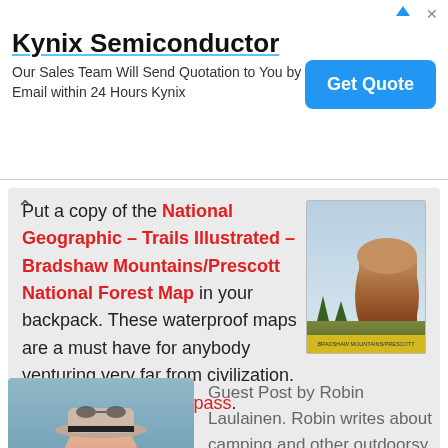[Figure (other): Kynix Semiconductor advertisement banner with Get Quote button]
Put a copy of the National Geographic – Trails Illustrated – Bradshaw Mountains/Prescott National Forest Map in your backpack. These waterproof maps are a must have for anybody venturing very far from civilization. Don't forget your compass.
[Figure (photo): Book cover: National Geographic Trails Illustrated Bradshaw Mountains/Prescott National Forest Map]
Guest Post by Robin Laulainen. Robin writes about camping and other outdoorsy stuff at Trek Southwest, pets every dog she meets, and drinks more coffee than she should. She